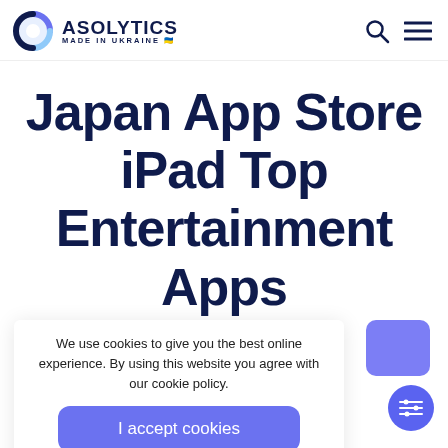ASOLYTICS MADE IN UKRAINE
Japan App Store iPad Top Entertainment Apps
Top Apps insights
We use cookies to give you the best online experience. By using this website you agree with our cookie policy.
I accept cookies
Avg
3.9